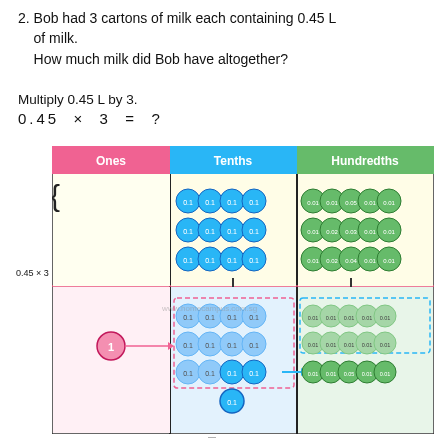2. Bob had 3 cartons of milk each containing 0.45 L of milk.
    How much milk did Bob have altogether?
Multiply 0.45 L by 3.
[Figure (infographic): Place value chart showing 0.45 × 3 using circle tokens. Three columns: Ones (pink header), Tenths (blue header), Hundredths (green header). Top half shows 3 rows of 4 blue 0.1 tokens in Tenths and 5 green 0.01 tokens in Hundredths. Bottom half shows regrouped result: one pink '1' token in Ones, remaining 0.1 tokens in dashed box in Tenths, and 0.01 tokens in Hundredths.]
www.homecampus.com.sg